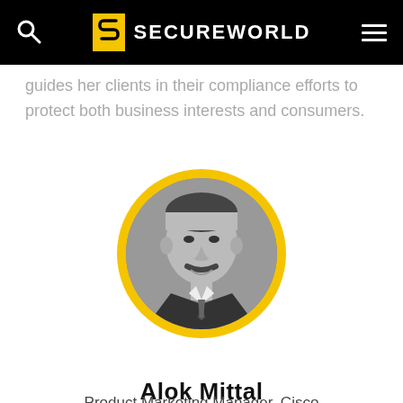SECUREWORLD
guides her clients in their compliance efforts to protect both business interests and consumers.
[Figure (photo): Black and white circular portrait photo of Alok Mittal with a yellow ring border]
Alok Mittal
Product Marketing Manager, Cisco